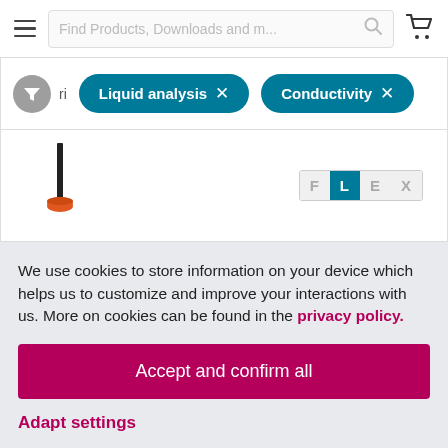Find Products, Downloads and m...
[Figure (screenshot): Filter bar with 'Liquid analysis' and 'Conductivity' active filter chips with X remove buttons, and a funnel filter icon]
[Figure (photo): Product image showing a conductivity sensor/probe with orange base, alongside a FLEX badge (F L E X where L is highlighted in teal)]
We use cookies to store information on your device which helps us to customize and improve your interactions with us. More on cookies can be found in the privacy policy.
Accept and confirm all
Adapt settings